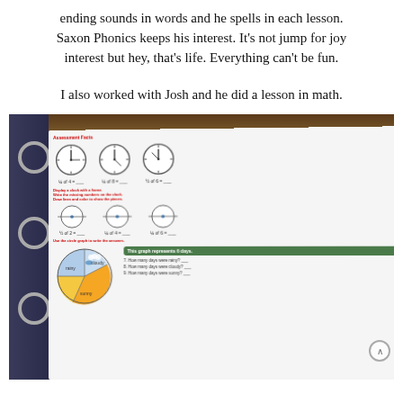ending sounds in words and he spells in each lesson. Saxon Phonics keeps his interest. It's not jump for joy interest but hey, that's life. Everything can't be fun.
I also worked with Josh and he did a lesson in math.
[Figure (photo): A photograph of a math worksheet in a binder showing clock exercises and a pie/circle graph exercise about rainy, cloudy, and sunny days. The worksheet shows clock faces for telling time and fraction exercises, plus a circle graph representing 6 days with questions about how many days were rainy, cloudy, or sunny.]